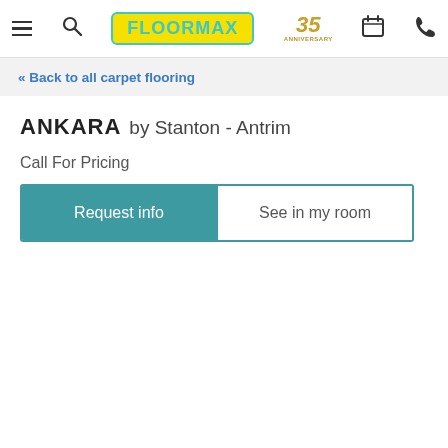FLOORMAX - 35th Anniversary - Navigation header with menu, search, calendar, phone icons
« Back to all carpet flooring
ANKARA by Stanton - Antrim
Call For Pricing
Request info | See in my room